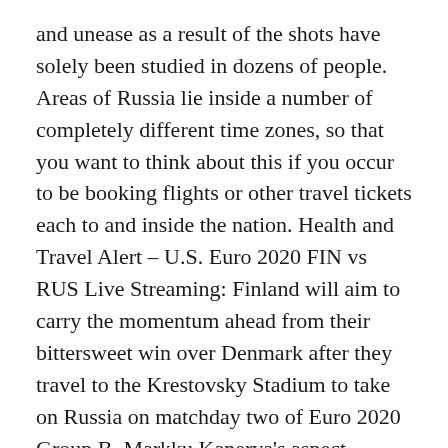and unease as a result of the shots have solely been studied in dozens of people. Areas of Russia lie inside a number of completely different time zones, so that you want to think about this if you occur to be booking flights or other travel tickets each to and inside the nation. Health and Travel Alert – U.S. Euro 2020 FIN vs RUS Live Streaming: Finland will aim to carry the momentum ahead from their bittersweet win over Denmark after they travel to the Krestovsky Stadium to take on Russia on matchday two of Euro 2020 Group B. Markku Kanerva's aspect secured a 1-zero win over their Scandinavian neighbours on a day where football came second, while Russia's first sport of the tournament ended in a comprehensive 3-0 loss to Belgium. During the brand new Year holidays, some 13,000 folks a day were being vaccinated, and over the past 9 days, I estimate that pictures have been being given to 135,000-145,000 individuals every